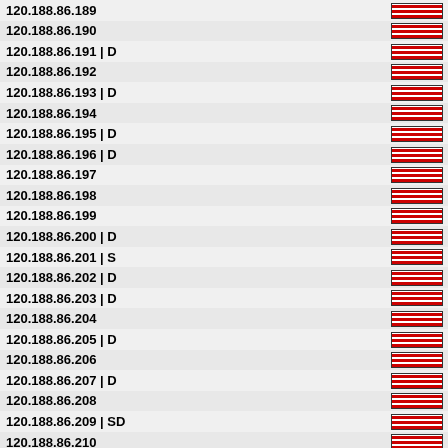| IP | Bar |
| --- | --- |
| 120.188.86.189 |  |
| 120.188.86.190 |  |
| 120.188.86.191 | D |  |
| 120.188.86.192 |  |
| 120.188.86.193 | D |  |
| 120.188.86.194 |  |
| 120.188.86.195 | D |  |
| 120.188.86.196 | D |  |
| 120.188.86.197 |  |
| 120.188.86.198 |  |
| 120.188.86.199 |  |
| 120.188.86.200 | D |  |
| 120.188.86.201 | S |  |
| 120.188.86.202 | D |  |
| 120.188.86.203 | D |  |
| 120.188.86.204 |  |
| 120.188.86.205 | D |  |
| 120.188.86.206 |  |
| 120.188.86.207 | D |  |
| 120.188.86.208 |  |
| 120.188.86.209 | SD |  |
| 120.188.86.210 |  |
| 120.188.86.211 | D |  |
| 120.188.86.212 |  |
| 120.188.86.213 | D |  |
| 120.188.86.214 | D |  |
| 120.188.86.215 | HD |  |